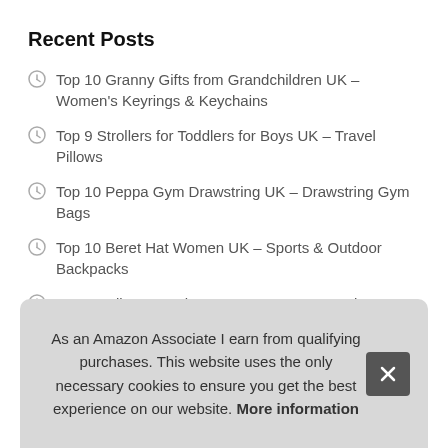Recent Posts
Top 10 Granny Gifts from Grandchildren UK – Women's Keyrings & Keychains
Top 9 Strollers for Toddlers for Boys UK – Travel Pillows
Top 10 Peppa Gym Drawstring UK – Drawstring Gym Bags
Top 10 Beret Hat Women UK – Sports & Outdoor Backpacks
Top 9 Delicate Wash Bag UK – Home & Garden Store
Top 10 Castles of Burgundy board Game UK – Reusable Shopping Bags
T…
T…
As an Amazon Associate I earn from qualifying purchases. This website uses the only necessary cookies to ensure you get the best experience on our website. More information